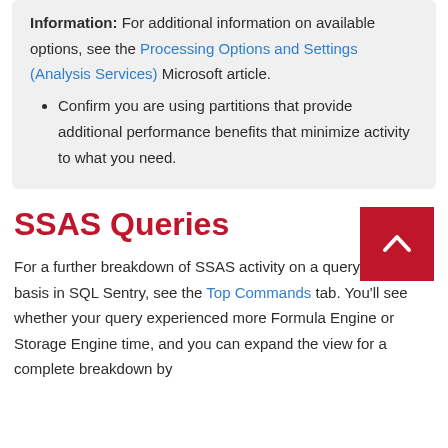Information: For additional information on available options, see the Processing Options and Settings (Analysis Services) Microsoft article.
Confirm you are using partitions that provide additional performance benefits that minimize activity to what you need.
SSAS Queries
For a further breakdown of SSAS activity on a query-by-query basis in SQL Sentry, see the Top Commands tab. You'll see whether your query experienced more Formula Engine or Storage Engine time, and you can expand the view for a complete breakdown by